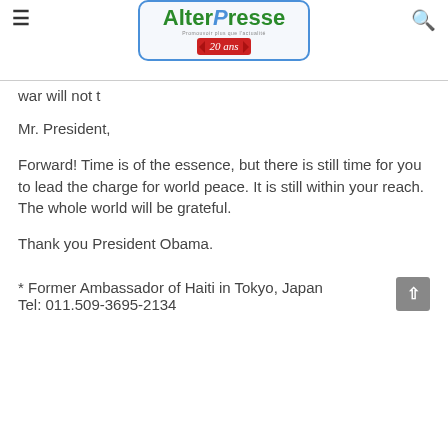AlterPresse
war will not t
Mr. President,
Forward! Time is of the essence, but there is still time for you to lead the charge for world peace. It is still within your reach. The whole world will be grateful.
Thank you President Obama.
* Former Ambassador of Haiti in Tokyo, Japan
Tel: 011.509-3695-2134